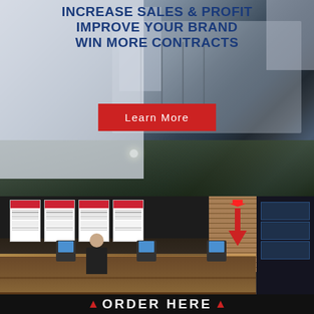[Figure (photo): Aerial/street view of a commercial building exterior with parking area and trees]
INCREASE SALES & PROFIT
IMPROVE YOUR BRAND
WIN MORE CONTRACTS
Learn More
[Figure (photo): Restaurant interior showing digital menu boards above an order counter with a staff member standing behind the counter; 'ORDER HERE' text visible at the bottom]